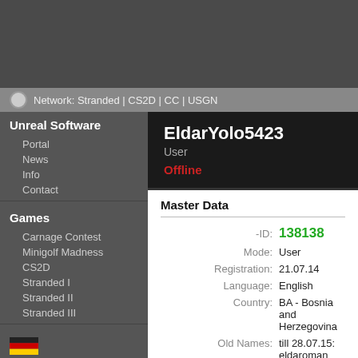Network: Stranded | CS2D | CC | USGN
Unreal Software
Portal
News
Info
Contact
Games
Carnage Contest
Minigolf Madness
CS2D
Stranded I
Stranded II
Stranded III
Stuff
Links
Community
Search / FAQ
Rules
Users
File Archive
Forum
EldarYolo5423
User
Offline
Master Data
| Field | Value |
| --- | --- |
| -ID: | 138138 |
| Mode: | User |
| Registration: | 21.07.14 |
| Language: | English |
| Country: | BA - Bosnia and Herzegovina |
| Old Names: | till 28.07.15: eldaroman |